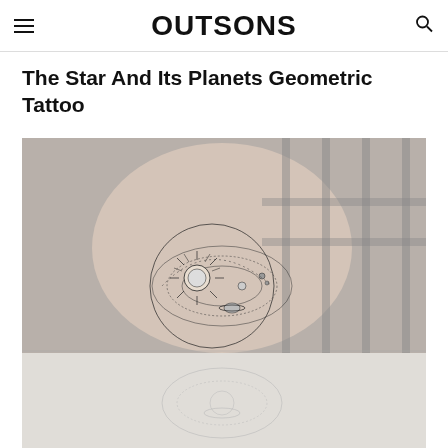OUTSONS
The Star And Its Planets Geometric Tattoo
[Figure (photo): Close-up photograph of a forearm tattoo showing a geometric solar system design with a star/sun at the center surrounded by orbiting planets, rendered in fine-line black ink. Below it, a partial second image shows a similar tattoo design in lighter tones.]